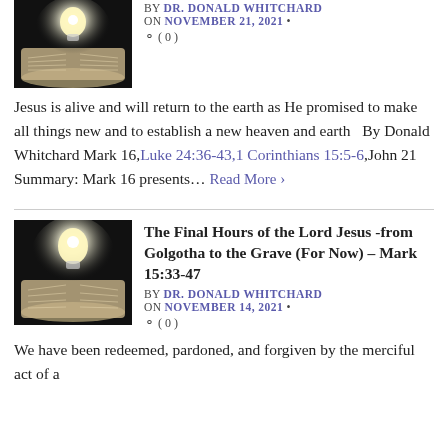[Figure (photo): Glowing light bulb over open Bible on dark background (thumbnail)]
BY DR. DONALD WHITCHARD on NOVEMBER 21, 2021 • ( 0 )
Jesus is alive and will return to the earth as He promised to make all things new and to establish a new heaven and earth   By Donald Whitchard Mark 16,Luke 24:36-43,1 Corinthians 15:5-6,John 21   Summary: Mark 16 presents… Read More ›
The Final Hours of the Lord Jesus -from Golgotha to the Grave (For Now) – Mark 15:33-47
[Figure (photo): Glowing light bulb over open Bible on dark background (thumbnail)]
BY DR. DONALD WHITCHARD on NOVEMBER 14, 2021 • ( 0 )
We have been redeemed, pardoned, and forgiven by the merciful act of a